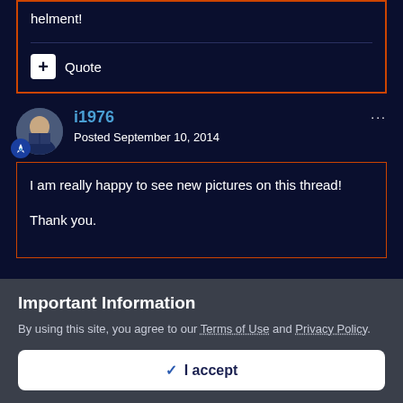helment!
Quote
i1976
Posted September 10, 2014
I am really happy to see new pictures on this thread!

Thank you.
Important Information
By using this site, you agree to our Terms of Use and Privacy Policy.
✓ I accept